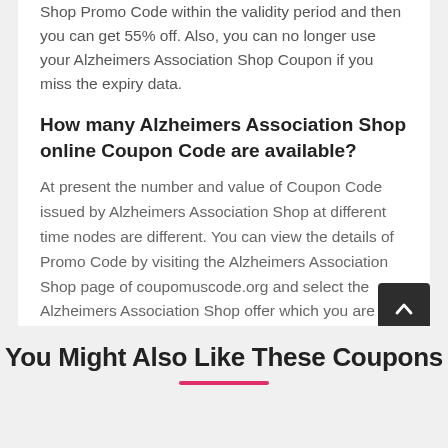Shop Promo Code within the validity period and then you can get 55% off. Also, you can no longer use your Alzheimers Association Shop Coupon if you miss the expiry data.
How many Alzheimers Association Shop online Coupon Code are available?
At present the number and value of Coupon Code issued by Alzheimers Association Shop at different time nodes are different. You can view the details of Promo Code by visiting the Alzheimers Association Shop page of coupomuscode.org and select the Alzheimers Association Shop offer which you are interested in.
You Might Also Like These Coupons